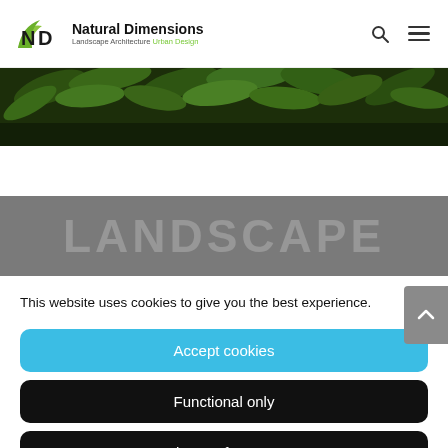Natural Dimensions — Landscape Architecture Urban Design
[Figure (photo): Green leafy plant canopy photo used as hero banner image]
LANDSCAPE
This website uses cookies to give you the best experience.
Accept cookies
Functional only
View preferences